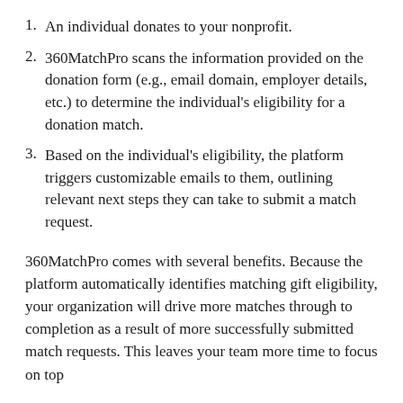An individual donates to your nonprofit.
360MatchPro scans the information provided on the donation form (e.g., email domain, employer details, etc.) to determine the individual's eligibility for a donation match.
Based on the individual's eligibility, the platform triggers customizable emails to them, outlining relevant next steps they can take to submit a match request.
360MatchPro comes with several benefits. Because the platform automatically identifies matching gift eligibility, your organization will drive more matches through to completion as a result of more successfully submitted match requests. This leaves your team more time to focus on top